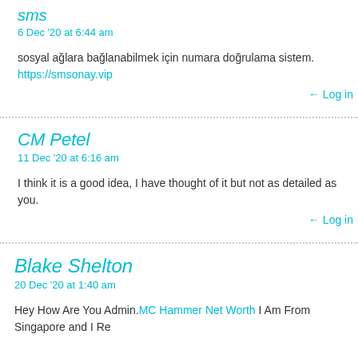sms
6 Dec '20 at 6:44 am
sosyal ağlara bağlanabilmek için numara doğrulama sistem. https://smsonay.vip
← Log in
CM Petel
11 Dec '20 at 6:16 am
I think it is a good idea, I have thought of it but not as detailed as you.
← Log in
Blake Shelton
20 Dec '20 at 1:40 am
Hey How Are You Admin.MC Hammer Net Worth I Am From Singapore and I Re